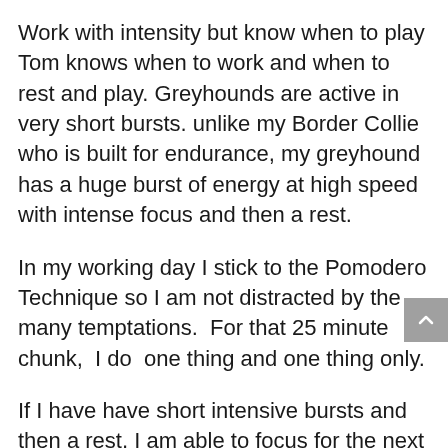Work with intensity but know when to play Tom knows when to work and when to rest and play. Greyhounds are active in very short bursts. unlike my Border Collie who is built for endurance, my greyhound has a huge burst of energy at high speed with intense focus and then a rest.
In my working day I stick to the Pomodero Technique so I am not distracted by the many temptations.  For that 25 minute chunk,  I do  one thing and one thing only.
If I have have short intensive bursts and then a rest, I am able to focus for the next task.
Stay grounded and remember the things in life that really matter
Dogs are very good at remaining interested in